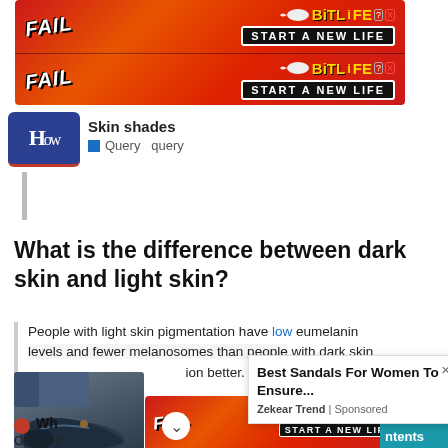[Figure (screenshot): BitLife advertisement banner showing FAIL text with cartoon character and flames, with 'START A NEW LIFE' button, repeated twice]
[Figure (logo): HowTo logo - blue rounded rectangle with 'How' text and red underline]
Skin shades
Query  query
What is the difference between dark skin and light skin?
People with light skin pigmentation have low eumelanin levels and fewer melanosomes than people with dark skin ... ion better.
[Figure (photo): Blue/dark casual shoe on a person's foot with jeans]
[Figure (screenshot): Popup advertisement: Best Sandals For Women To Ensure... by Zekear Trend | Sponsored]
Best Sandals For Women To Ensure...
Zekear Trend | Sponsored
Wh
One of t
[Figure (screenshot): BitLife advertisement banner at bottom with FAIL cartoon and START A NEW LIFE button]